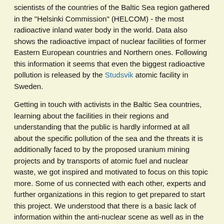scientists of the countries of the Baltic Sea region gathered in the "Helsinki Commission" (HELCOM) - the most radioactive inland water body in the world. Data also shows the radioactive impact of nuclear facilities of former Eastern European countries and Northern ones. Following this information it seems that even the biggest radioactive pollution is released by the Studsvik atomic facility in Sweden.
Getting in touch with activists in the Baltic Sea countries, learning about the facilities in their regions and understanding that the public is hardly informed at all about the specific pollution of the sea and the threats it is additionally faced to by the proposed uranium mining projects and by transports of atomic fuel and nuclear waste, we got inspired and motivated to focus on this topic more. Some of us connected with each other, experts and further organizations in this region to get prepared to start this project. We understood that there is a basic lack of information within the anti-nuclear scene as well as in the general public. When we started to create an overview for ourselves, we figured out that there are more than 60 atomic facilities in the water shed of the Baltic Sea - partly in operation, some are already decommissioned (but potentially polluted the sea in the past and still pose the risk of having left contaminated ground), and a number of them is still in the stage of being planned or constructed.
Goals
Our project aims on educating people and public in general on the